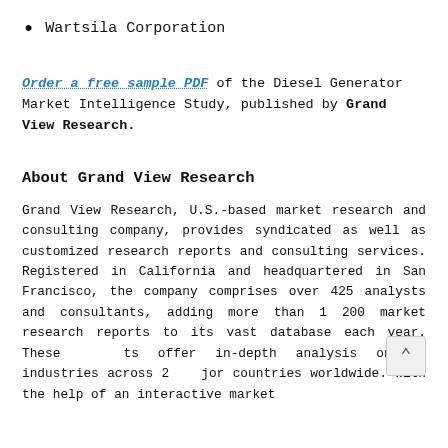Wartsila Corporation
Order a free sample PDF of the Diesel Generator Market Intelligence Study, published by Grand View Research.
About Grand View Research
Grand View Research, U.S.-based market research and consulting company, provides syndicated as well as customized research reports and consulting services. Registered in California and headquartered in San Francisco, the company comprises over 425 analysts and consultants, adding more than 1200 market research reports to its vast database each year. These reports offer in-depth analysis on 46 industries across 25 major countries worldwide. With the help of an interactive market